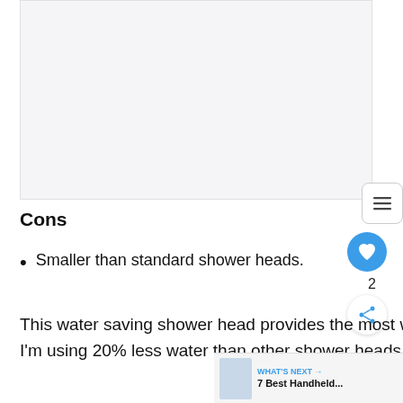[Figure (photo): Image placeholder area (light gray rectangle, appears to be a product photo area)]
Cons
Smaller than standard shower heads.
This water saving shower head provides the most wholesome experience since I never noticed I'm using 20% less water than other shower heads.